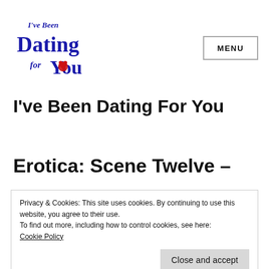[Figure (logo): I've Been Dating for You logo — stylized blue script text with red heart on the 'O' in 'You']
I've Been Dating For You
Erotica: Scene Twelve –
Privacy & Cookies: This site uses cookies. By continuing to use this website, you agree to their use.
To find out more, including how to control cookies, see here: Cookie Policy
Close and accept
This is the last instalment of the erotica series